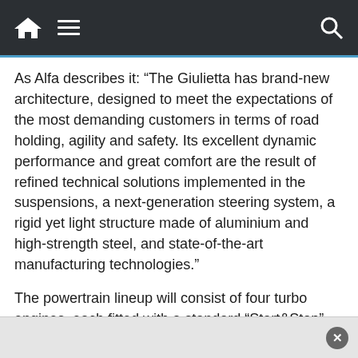Navigation bar with home icon, hamburger menu, and search icon
As Alfa describes it: “The Giulietta has brand-new architecture, designed to meet the expectations of the most demanding customers in terms of road holding, agility and safety. Its excellent dynamic performance and great comfort are the result of refined technical solutions implemented in the suspensions, a next-generation steering system, a rigid yet light structure made of aluminium and high-strength steel, and state-of-the-art manufacturing technologies.”
The powertrain lineup will consist of four turbo engines, each fitted with a standard “Start&Stop” system to improve fuel-efficiency. The two petrol engines include a 120 hp 1.4 TB and a 170 hp 1.4 TB MultiAir. Diesel